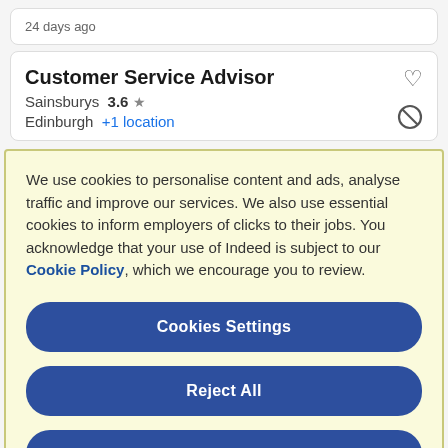24 days ago
Customer Service Advisor
Sainsburys  3.6 ★
Edinburgh  +1 location
We use cookies to personalise content and ads, analyse traffic and improve our services. We also use essential cookies to inform employers of clicks to their jobs. You acknowledge that your use of Indeed is subject to our Cookie Policy, which we encourage you to review.
Cookies Settings
Reject All
Accept All Cookies